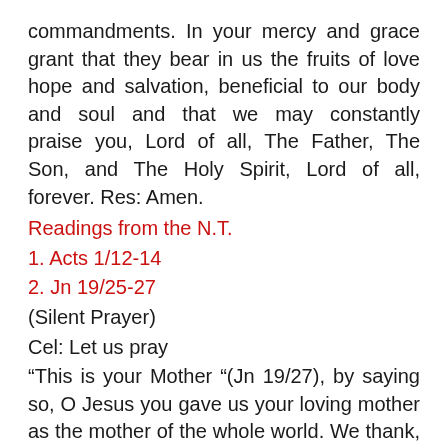commandments. In your mercy and grace grant that they bear in us the fruits of love hope and salvation, beneficial to our body and soul and that we may constantly praise you, Lord of all, The Father, The Son, and The Holy Spirit, Lord of all, forever. Res: Amen.
Readings from the N.T.
1. Acts 1/12-14
2. Jn 19/25-27
(Silent Prayer)
Cel: Let us pray
“This is your Mother “(Jn 19/27), by saying so, O Jesus you gave us your loving mother as the mother of the whole world. We thank, adore and praise You. Help us O Lord, to grow in devotion and love to Mother Mary like St. Al...